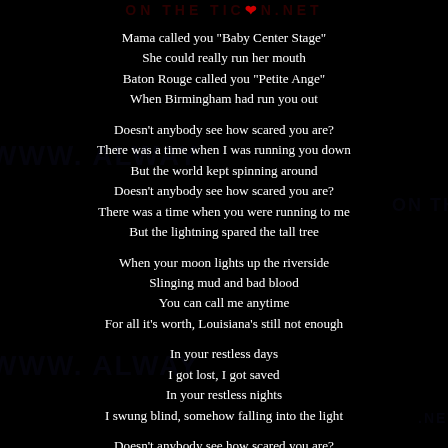ON THE TOWN .NET
Mama called you "Baby Center Stage"
She could really run her mouth
Baton Rouge called you "Petite Ange"
When Birmingham had run you out
Doesn't anybody see how scared you are?
There was a time when I was running you down
But the world kept spinning around
Doesn't anybody see how scared you are?
There was a time when you were running to me
But the lightning spared the tall tree
When your moon lights up the riverside
Slinging mud and bad blood
You can call me anytime
For all it's worth, Louisiana's still not enough
In your restless days
I got lost, I got saved
In your restless nights
I swung blind, somehow falling into the light
Doesn't anybody see how scared you are?
There was a time I was running you down
But the world kept spinning around
Doesn't anybody see how scared you are?
There was a time when you were running to me